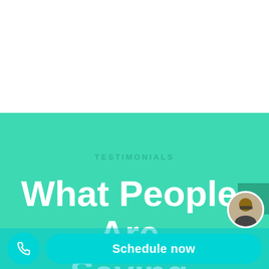[Figure (screenshot): White blank area at top of page, part of a website screenshot]
TESTIMONIALS
What People Are Saying
[Figure (photo): Circular avatar photo of a person with dark hair and sunglasses]
Schedule now